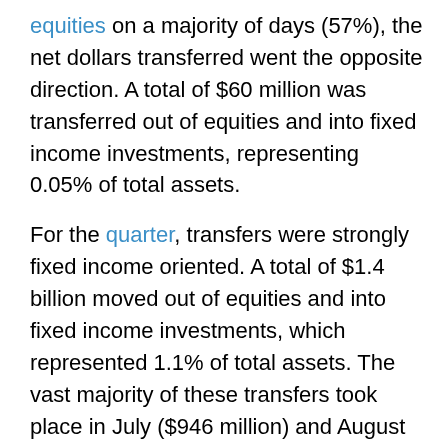equities on a majority of days (57%), the net dollars transferred went the opposite direction. A total of $60 million was transferred out of equities and into fixed income investments, representing 0.05% of total assets.
For the quarter, transfers were strongly fixed income oriented. A total of $1.4 billion moved out of equities and into fixed income investments, which represented 1.1% of total assets. The vast majority of these transfers took place in July ($946 million) and August ($432 million), according to Aon Hewitt data.
Nearly all equity asset classes saw some outflows. Small U.S. equity funds saw the largest outflows in September, totaling $41